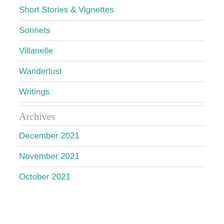Short Stories & Vignettes
Sonnets
Villanelle
Wanderlust
Writings
Archives
December 2021
November 2021
October 2021